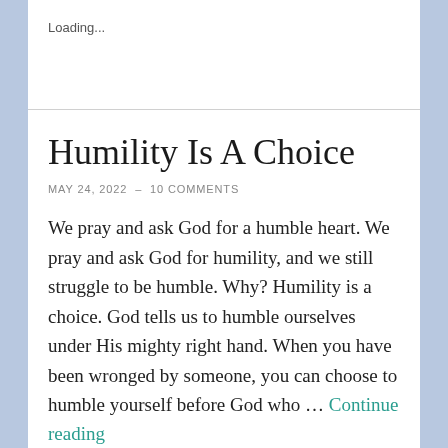Loading...
Humility Is A Choice
MAY 24, 2022  –  10 COMMENTS
We pray and ask God for a humble heart. We pray and ask God for humility, and we still struggle to be humble. Why? Humility is a choice. God tells us to humble ourselves under His mighty right hand. When you have been wronged by someone, you can choose to humble yourself before God who … Continue reading